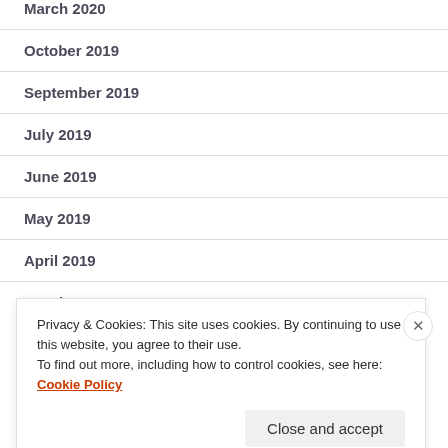March 2020
October 2019
September 2019
July 2019
June 2019
May 2019
April 2019
March 2019
Privacy & Cookies: This site uses cookies. By continuing to use this website, you agree to their use.
To find out more, including how to control cookies, see here: Cookie Policy
Close and accept